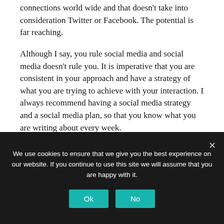connections world wide and that doesn't take into consideration Twitter or Facebook.  The potential is far reaching.
Although I say, you rule social media and social media doesn't rule you.  It is imperative that you are consistent in your approach and have a strategy of what you are trying to achieve with your interaction.  I always recommend having a social media strategy and a social media plan, so that you know what you are writing about every week.
There are literally hundreds of social media
We use cookies to ensure that we give you the best experience on our website. If you continue to use this site we will assume that you are happy with it.